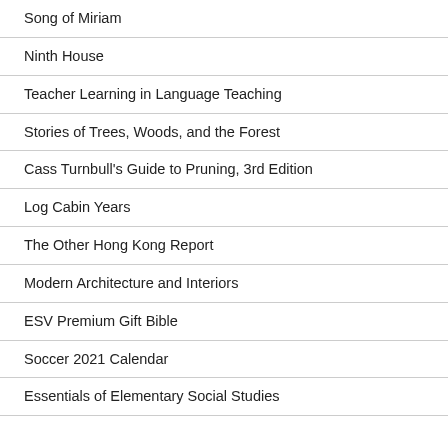Song of Miriam
Ninth House
Teacher Learning in Language Teaching
Stories of Trees, Woods, and the Forest
Cass Turnbull's Guide to Pruning, 3rd Edition
Log Cabin Years
The Other Hong Kong Report
Modern Architecture and Interiors
ESV Premium Gift Bible
Soccer 2021 Calendar
Essentials of Elementary Social Studies